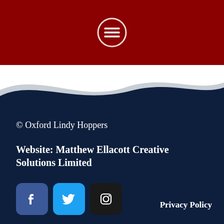[Figure (logo): Dark red header bar with circular menu/hamburger icon in white outline]
[Figure (illustration): Wave shape transition from white to dark navy blue, with a grey wave shadow]
© Oxford Lindy Hoppers
Website: Matthew Ellacott Creative Solutions Limited
[Figure (infographic): Three social media icon buttons: Facebook (dark blue/purple), Twitter (light blue), Instagram (dark/black)]
Privacy Policy
Safer Spaces Policy